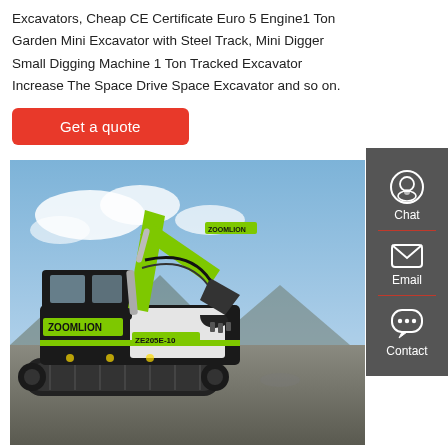Excavators, Cheap CE Certificate Euro 5 Engine1 Ton Garden Mini Excavator with Steel Track, Mini Digger Small Digging Machine 1 Ton Tracked Excavator Increase The Space Drive Space Excavator and so on.
Get a quote
[Figure (photo): Photo of a Zoomlion ZE205E-10 tracked excavator with yellow-green boom and arm against a cloudy sky, on rocky terrain.]
Chat
Email
Contact